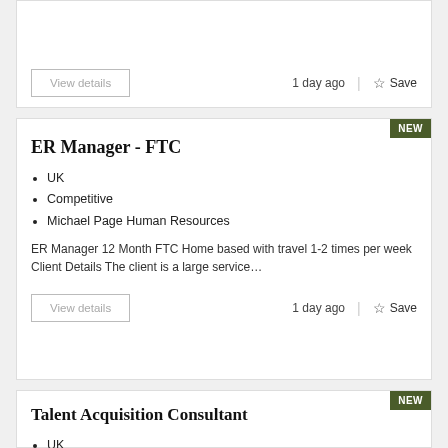View details    1 day ago  |  Save
ER Manager - FTC
UK
Competitive
Michael Page Human Resources
ER Manager 12 Month FTC Home based with travel 1-2 times per week Client Details The client is a large service…
View details    1 day ago  |  Save
Talent Acquisition Consultant
UK